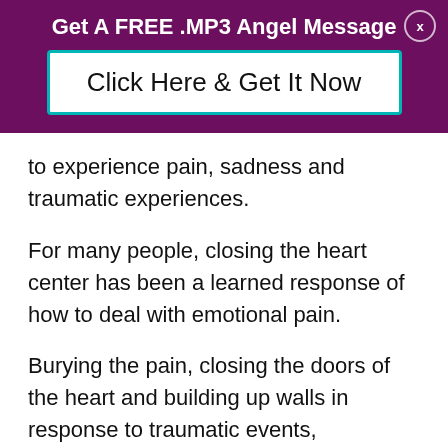Get A FREE .MP3 Angel Message
Click Here & Get It Now
to experience pain, sadness and traumatic experiences.
For many people, closing the heart center has been a learned response of how to deal with emotional pain.
Burying the pain, closing the doors of the heart and building up walls in response to traumatic events, challenging relationships, and feeling of a lack of love is a common